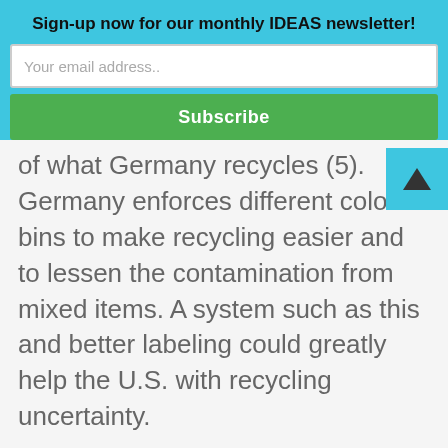Sign-up now for our monthly IDEAS newsletter!
Your email address..
Subscribe
of what Germany recycles (5). Germany enforces different colored bins to make recycling easier and to lessen the contamination from mixed items. A system such as this and better labeling could greatly help the U.S. with recycling uncertainty.
How can the U.S. improve their recycling rate?